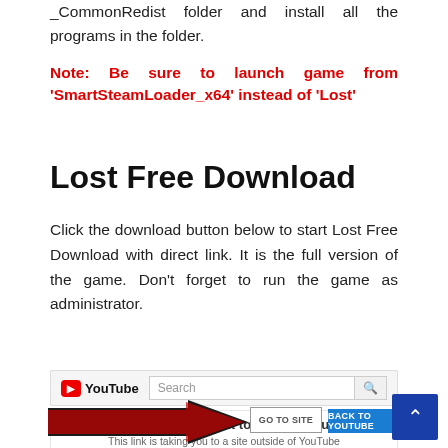_CommonRedist folder and install all the programs in the folder.
Note: Be sure to launch game from 'SmartSteamLoader_x64' instead of 'Lost'
Lost Free Download
Click the download button below to start Lost Free Download with direct link. It is the full version of the game. Don't forget to run the game as administrator.
[Figure (screenshot): YouTube search bar screenshot and YouTube leave-site dialog showing 'Are you sure you want to leave YouTube?' with a link taking to uploadhaven.com, along with GO TO SITE and BACK TO YOUTUBE buttons, and a large black/red arrow pointing right.]